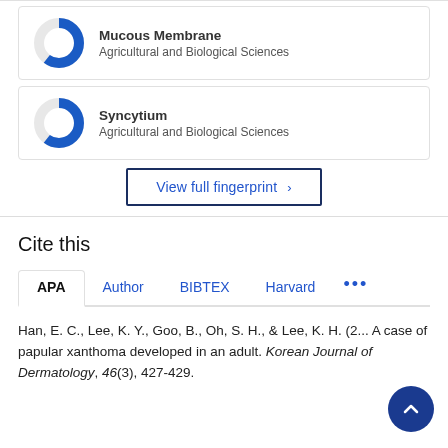[Figure (donut-chart): Donut chart approximately 85% filled in blue, representing Mucous Membrane keyword fingerprint badge]
Mucous Membrane
Agricultural and Biological Sciences
[Figure (donut-chart): Donut chart approximately 85% filled in blue, representing Syncytium keyword fingerprint badge]
Syncytium
Agricultural and Biological Sciences
View full fingerprint ›
Cite this
APA  Author  BIBTEX  Harvard  •••
Han, E. C., Lee, K. Y., Goo, B., Oh, S. H., & Lee, K. H. (2... A case of papular xanthoma developed in an adult. Korean Journal of Dermatology, 46(3), 427-429.